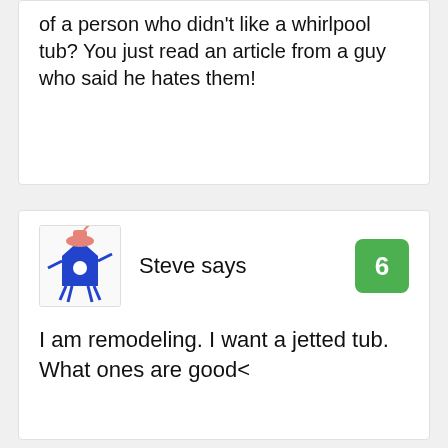of a person who didn't like a whirlpool tub? You just read an article from a guy who said he hates them!
[Figure (illustration): Avatar illustration of a blue cartoon character (shrimp/creature) wearing a pink hat and holding something, in a white bordered box]
Steve says
6
I am remodeling. I want a jetted tub. What ones are good<